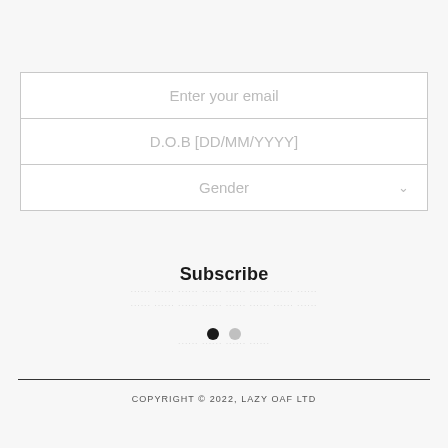[Figure (screenshot): Web form with email, date of birth, and gender fields, plus a Subscribe button]
Subscribe
[Figure (infographic): Two pagination dots: one filled black, one gray]
COPYRIGHT © 2022, LAZY OAF LTD